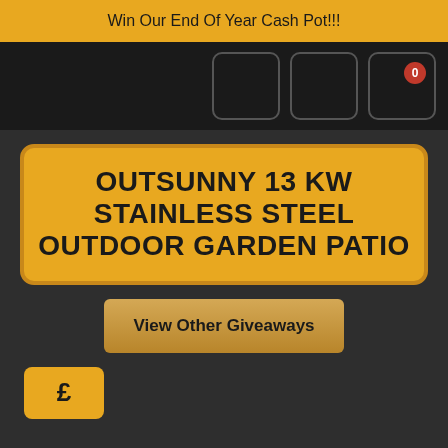Win Our End Of Year Cash Pot!!!
[Figure (screenshot): Navigation bar with three icon buttons (two blank icons and a cart icon with badge showing 0) on dark background]
OUTSUNNY 13 KW STAINLESS STEEL OUTDOOR GARDEN PATIO
View Other Giveaways
£